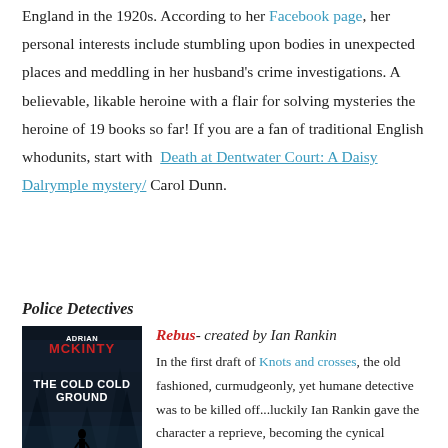The Honourable Daisy Dalrymple is a fictional character, living in England in the 1920s. According to her Facebook page, her personal interests include stumbling upon bodies in unexpected places and meddling in her husband's crime investigations. A believable, likable heroine with a flair for solving mysteries the heroine of 19 books so far! If you are a fan of traditional English whodunits, start with Death at Dentwater Court: A Daisy Dalrymple mystery/ Carol Dunn.
Police Detectives
[Figure (photo): Book cover: The Cold Cold Ground by Adrian McKinty, featuring a silhouetted figure walking in a dark, wintry forest scene.]
Rebus- created by Ian Rankin
In the first draft of Knots and crosses, the old fashioned, curmudgeonly, yet humane detective was to be killed off...luckily Ian Rankin gave the character a reprieve, becoming the cynical protagonist of a series of over